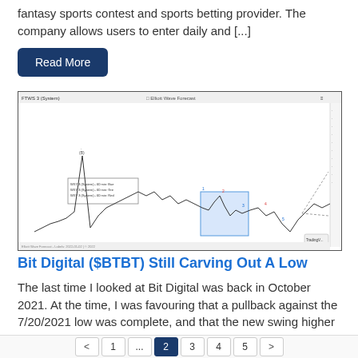fantasy sports contest and sports betting provider. The company allows users to enter daily and [...]
Read More
[Figure (screenshot): Financial/stock chart showing price action with Elliott Wave annotations for Bit Digital ($BTBT), including a highlighted blue rectangle area indicating a low zone and projected future move upward.]
Bit Digital ($BTBT) Still Carving Out A Low
The last time I looked at Bit Digital was back in October 2021. At the time, I was favouring that a pullback against the 7/20/2021 low was complete, and that the new swing higher was underway.  Lets take a look at the chart I was presenting: Bit Digital October 2021 view: Back in October, the [...]
Read More